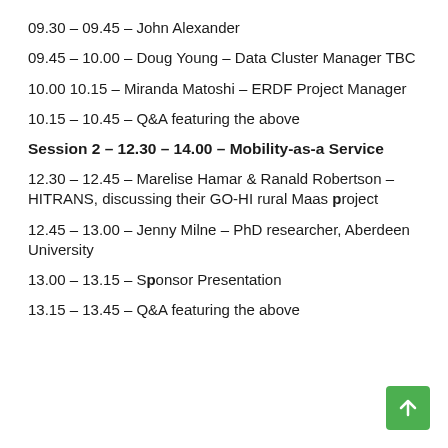09.30 – 09.45 – John Alexander
09.45 – 10.00 – Doug Young – Data Cluster Manager TBC
10.00 10.15 – Miranda Matoshi – ERDF Project Manager
10.15 – 10.45 – Q&A featuring the above
Session 2 – 12.30 – 14.00 – Mobility-as-a Service
12.30 – 12.45 – Marelise Hamar & Ranald Robertson – HITRANS, discussing their GO-HI rural Maas project
12.45 – 13.00 – Jenny Milne – PhD researcher, Aberdeen University
13.00 – 13.15 – Sponsor Presentation
13.15 – 13.45 – Q&A featuring the above